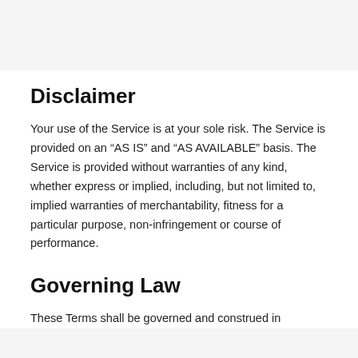Disclaimer
Your use of the Service is at your sole risk. The Service is provided on an “AS IS” and “AS AVAILABLE” basis. The Service is provided without warranties of any kind, whether express or implied, including, but not limited to, implied warranties of merchantability, fitness for a particular purpose, non-infringement or course of performance.
Governing Law
These Terms shall be governed and construed in